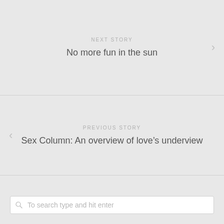NEXT STORY
No more fun in the sun
PREVIOUS STORY
Sex Column: An overview of love's underview
To search type and hit enter